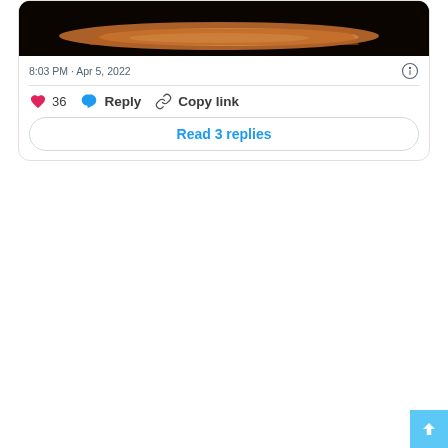[Figure (photo): Dark image with an orange/amber glowing light streak against a dark background]
8:03 PM · Apr 5, 2022
❤ 36   Reply   Copy link
Read 3 replies